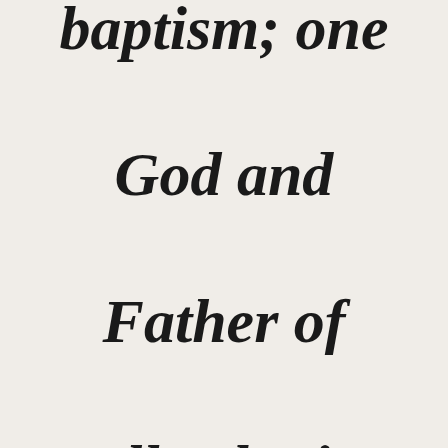baptism; one God and Father of all, who is over all and through all